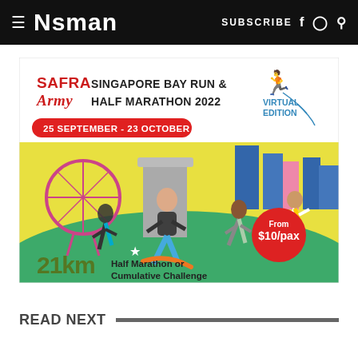≡ NSMAN   SUBSCRIBE f ⊙ Q
[Figure (illustration): SAFRA Singapore Bay Run & Army Half Marathon 2022 Virtual Edition advertisement. Date: 25 September - 23 October. Shows animated runners in front of Singapore landmarks (Flyer, Marina Bay Sands). Price: From $10/pax. 21km Half Marathon or Cumulative Challenge.]
READ NEXT